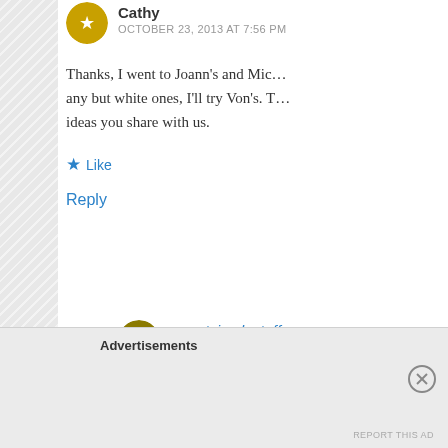Cathy
OCTOBER 23, 2013 AT 7:56 PM
Thanks, I went to Joann's and Mic... any but white ones, I'll try Von's. T... ideas you share with us.
Like
Reply
sweetsimplestuff
OCTOBER 23, 2013 AT 8:13 PM
Thank you Cathy … wish y…
Advertisements
REPORT THIS AD